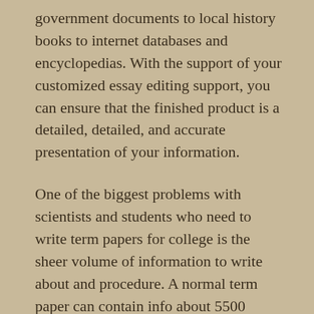government documents to local history books to internet databases and encyclopedias. With the support of your customized essay editing support, you can ensure that the finished product is a detailed, detailed, and accurate presentation of your information.
One of the biggest problems with scientists and students who need to write term papers for college is the sheer volume of information to write about and procedure. A normal term paper can contain info about 5500 words or much more! This level of advice is tough even for the most talented writer, let alone a student who is in the midst of finishing their diploma or dissertation. Such a massive amount of information means that pupils often fail to take into account the most